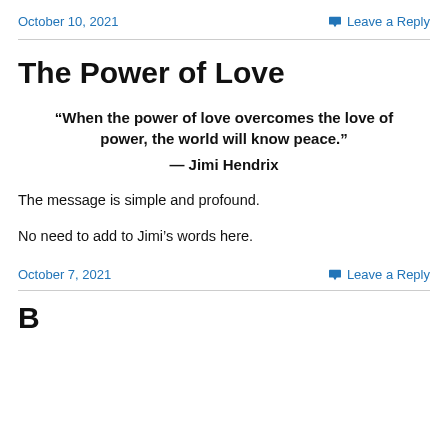October 10, 2021   Leave a Reply
The Power of Love
“When the power of love overcomes the love of power, the world will know peace.” — Jimi Hendrix
The message is simple and profound.
No need to add to Jimi’s words here.
October 7, 2021   Leave a Reply